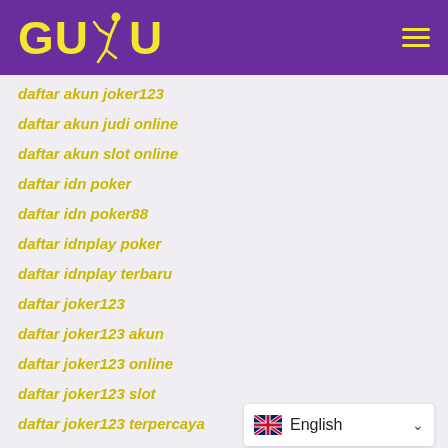GUDU [running figure logo]
daftar akun joker123
daftar akun judi online
daftar akun slot online
daftar idn poker
daftar idn poker88
daftar idnplay poker
daftar idnplay terbaru
daftar joker123
daftar joker123 akun
daftar joker123 online
daftar joker123 slot
daftar joker123 terpercaya
daftar judi online
[Figure (other): English language selector dropdown with UK flag icon]